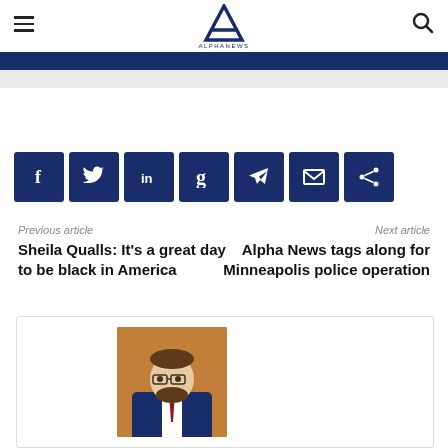Alpha News
[Figure (screenshot): Social share buttons row: Facebook, Twitter, LinkedIn, Goodreads/G, Telegram, Email, Share icons on dark navy blue buttons]
Previous article
Next article
Sheila Qualls: It's a great day to be black in America
Alpha News tags along for Minneapolis police operation
[Figure (photo): Author headshot: man with glasses and beard wearing dark navy suit and red tie, in front of brown background]